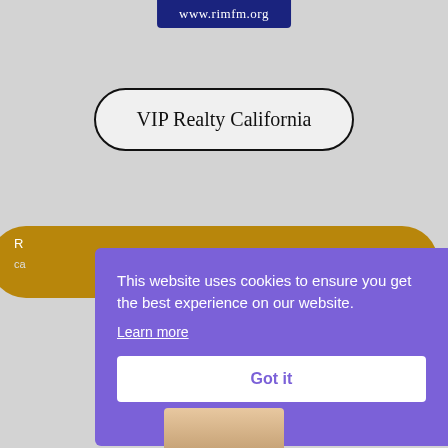[Figure (logo): Blue banner with white text www.rimfm.org]
VIP Realty California
[Figure (other): Gold/amber pill-shaped button partially visible, with truncated text on left side]
This website uses cookies to ensure you get the best experience on our website. Learn more
Got it
[Figure (photo): Partial photo of a person visible at the bottom of the page]